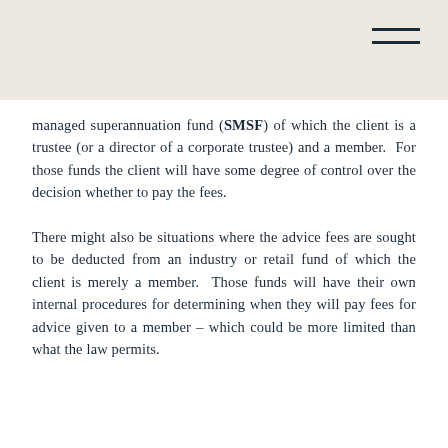managed superannuation fund (SMSF) of which the client is a trustee (or a director of a corporate trustee) and a member.  For those funds the client will have some degree of control over the decision whether to pay the fees.
There might also be situations where the advice fees are sought to be deducted from an industry or retail fund of which the client is merely a member.  Those funds will have their own internal procedures for determining when they will pay fees for advice given to a member – which could be more limited than what the law permits.